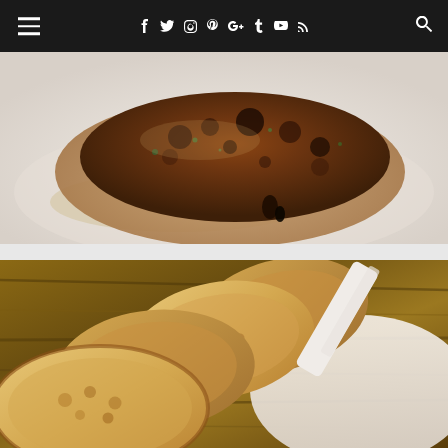Navigation bar with hamburger menu, social icons (Facebook, Twitter, Instagram, Pinterest, Google+, Tumblr, YouTube, RSS), and search icon
[Figure (photo): Close-up photo of a pan-seared or pan-fried crab cake on a white plate, with a golden-brown crispy top surface and herbs visible]
[Figure (photo): Close-up photo of sliced toasted bread rounds (crostini or baguette slices) fanned out on a white plate over a wooden table surface]